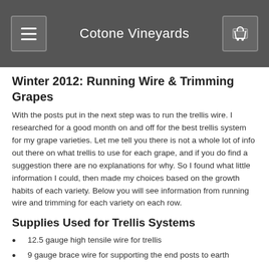Cotone Vineyards
Winter 2012: Running Wire & Trimming Grapes
With the posts put in the next step was to run the trellis wire. I researched for a good month on and off for the best trellis system for my grape varieties. Let me tell you there is not a whole lot of info out there on what trellis to use for each grape, and if you do find a suggestion there are no explanations for why. So I found what little information I could, then made my choices based on the growth habits of each variety. Below you will see information from running wire and trimming for each variety on each row.
Supplies Used for Trellis Systems
12.5 gauge high tensile wire for trellis
9 gauge brace wire for supporting the end posts to earth